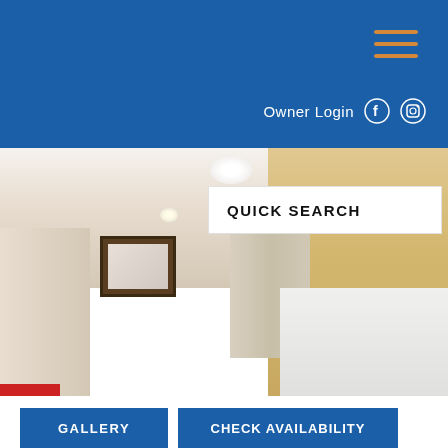Owner Login
[Figure (screenshot): Website header with blue background, hamburger menu with orange lines, Owner Login text and social icons (Facebook, Instagram)]
[Figure (photo): Interior room photo showing a kitchen/living area with ceiling light, warm beige walls, wooden cabinetry on the right, a picture frame on the wall, and a red accent at bottom left]
QUICK SEARCH
GALLERY
CHECK AVAILABILITY